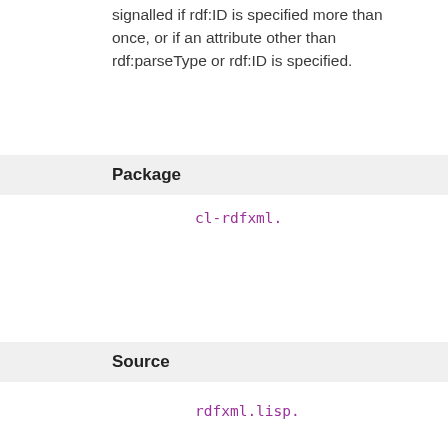signalled if rdf:ID is specified more than once, or if an attribute other than rdf:parseType or rdf:ID is specified.
Package
cl-rdfxml.
Source
rdfxml.lisp.
Function: parse-type-resource-property-element (source)
parse-type-resource-property-element source => |
source—a cxml source
parse-type-resource-property-element processes a property element with parseType Resource, according to